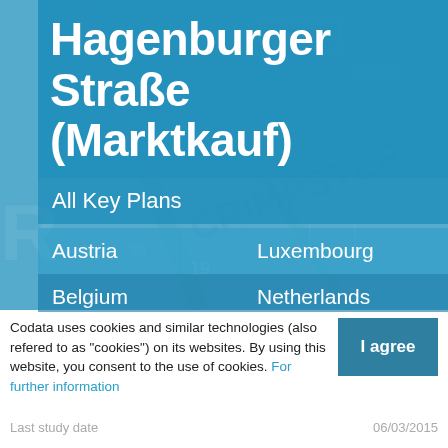Hagenburger Straße (Marktkauf)
All Key Plans
Austria   Luxembourg
Belgium   Netherlands
France   Portugal
Germany   Spain
Italy   Switzerland
Codata uses cookies and similar technologies (also refered to as "cookies") on its websites. By using this website, you consent to the use of cookies. For further information
Last study date   06/03/2015